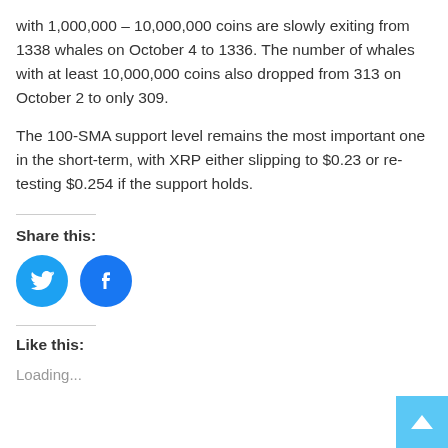with 1,000,000 – 10,000,000 coins are slowly exiting from 1338 whales on October 4 to 1336. The number of whales with at least 10,000,000 coins also dropped from 313 on October 2 to only 309.
The 100-SMA support level remains the most important one in the short-term, with XRP either slipping to $0.23 or re-testing $0.254 if the support holds.
Share this:
[Figure (illustration): Twitter and Facebook social share icon buttons (blue circles with white bird and f logos)]
Like this:
Loading...